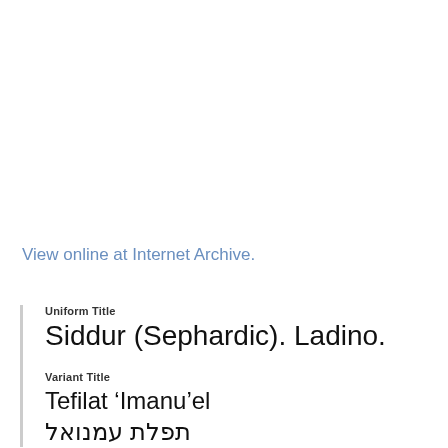View online at Internet Archive.
Uniform Title
Siddur (Sephardic). Ladino.
Variant Title
Tefilat 'Imanu'el
תפלת עמנואל